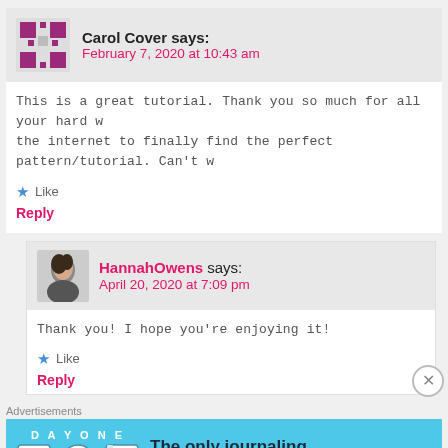Carol Cover says: February 7, 2020 at 10:43 am
This is a great tutorial. Thank you so much for all your hard w... the internet to finally find the perfect pattern/tutorial. Can't w...
Like
Reply
HannahOwens says: April 20, 2020 at 7:09 pm
Thank you! I hope you're enjoying it!
Like
Reply
Advertisements
[Figure (other): Day One journaling app advertisement banner with blue background, app icons, and text: The only journaling app you'll ever need.]